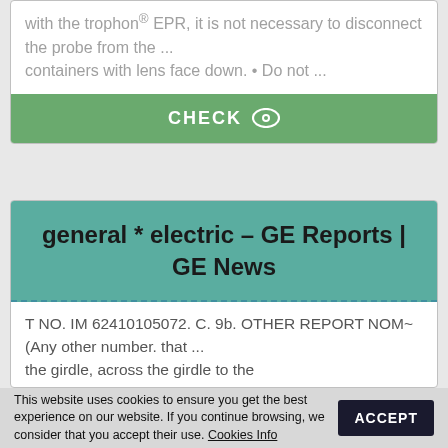with the trophon® EPR, it is not necessary to disconnect the probe from the ... containers with lens face down. • Do not ...
CHECK
general * electric – GE Reports | GE News
T NO. IM 62410105072. C. 9b. OTHER REPORT NOM~ (Any other number. that ... the girdle, across the girdle to the opposite side and down the second leg to
This website uses cookies to ensure you get the best experience on our website. If you continue browsing, we consider that you accept their use. Cookies Info